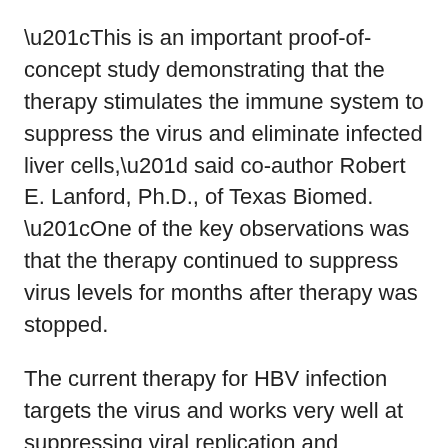“This is an important proof-of-concept study demonstrating that the therapy stimulates the immune system to suppress the virus and eliminate infected liver cells,” said co-author Robert E. Lanford, Ph.D., of Texas Biomed. “One of the key observations was that the therapy continued to suppress virus levels for months after therapy was stopped.
The current therapy for HBV infection targets the virus and works very well at suppressing viral replication and delaying progression of liver disease, but it is a lifelong therapy that does not provide a cure.
“This GS-9620 therapy represents the first conceptually new treatment for HBV in more than a